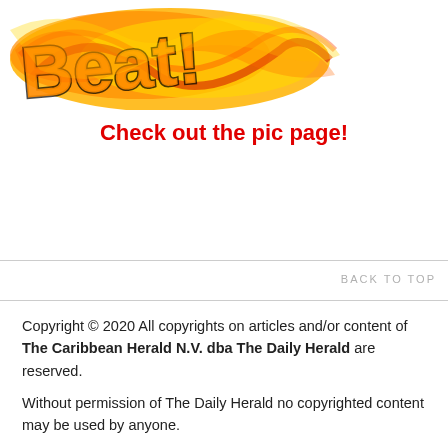[Figure (logo): Colorful graffiti-style logo with orange, yellow, red, and black brush strokes — appears to be a newspaper or publication logo (partially visible, cropped at top)]
Check out the pic page!
BACK TO TOP
Copyright © 2020 All copyrights on articles and/or content of The Caribbean Herald N.V. dba The Daily Herald are reserved.
Without permission of The Daily Herald no copyrighted content may be used by anyone.